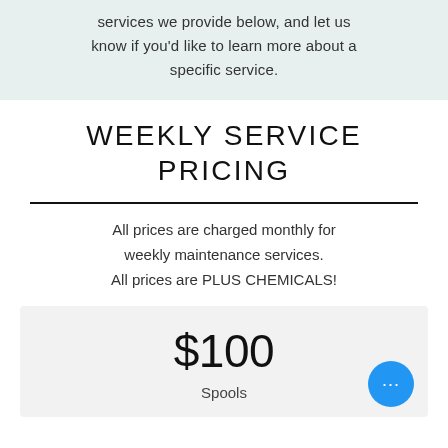services we provide below, and let us know if you'd like to learn more about a specific service.
WEEKLY SERVICE PRICING
All prices are charged monthly for weekly maintenance services. All prices are PLUS CHEMICALS!
$100
Spools